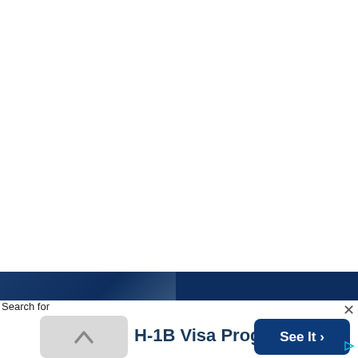[Figure (screenshot): Large white blank area taking up the top portion of the page, with a dark navy blue horizontal bar near the bottom of the white area.]
Search for
[Figure (screenshot): Advertisement bar with a scroll-up button (light gray rounded rectangle with upward chevron), bold text 'H-1B Visa Programs', a dark navy 'See It >' button, and a close X button. A small triangle/play icon appears at the bottom right.]